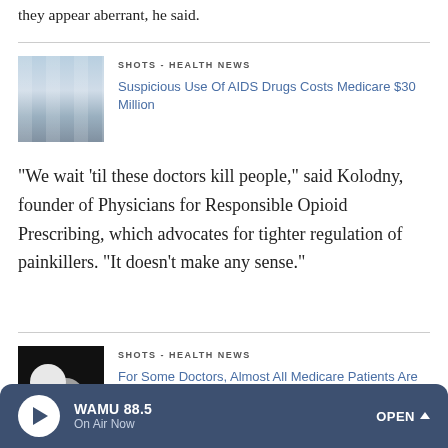they appear aberrant, he said.
[Figure (photo): Shelves of supplement/medication bottles]
SHOTS - HEALTH NEWS
Suspicious Use Of AIDS Drugs Costs Medicare $30 Million
"We wait 'til these doctors kill people," said Kolodny, founder of Physicians for Responsible Opioid Prescribing, which advocates for tighter regulation of painkillers. "It doesn't make any sense."
[Figure (photo): Close-up black and white photo of pills]
SHOTS - HEALTH NEWS
For Some Doctors, Almost All Medicare Patients Are Above Average
WAMU 88.5 On Air Now OPEN